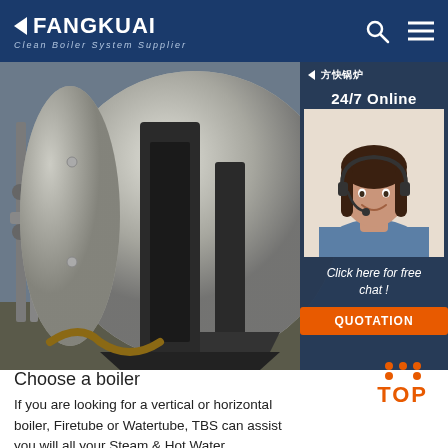FANGKUAI Clean Boiler System Supplier
[Figure (photo): Industrial boiler equipment in a factory setting, with large cylindrical metallic boiler visible. Overlay panel on the right shows 24/7 Online customer service agent, 'Click here for free chat!' text, and QUOTATION button in orange.]
Choose a boiler
If you are looking for a vertical or horizontal boiler, Firetube or Watertube, TBS can assist you will all your Steam & Hot Water